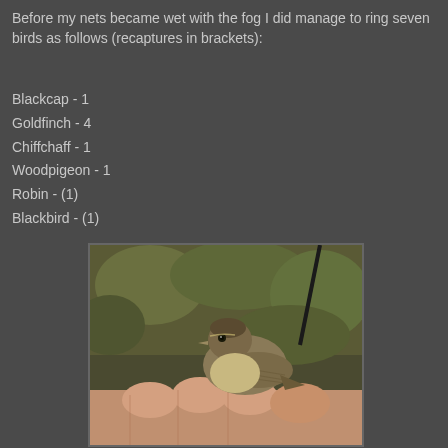Before my nets became wet with the fog I did manage to ring seven birds as follows (recaptures in brackets):
Blackcap - 1
Goldfinch - 4
Chiffchaff - 1
Woodpigeon - 1
Robin - (1)
Blackbird - (1)
[Figure (photo): A small brown bird (Chiffchaff) perched on a person's hand, photographed outdoors with green vegetation in the background.]